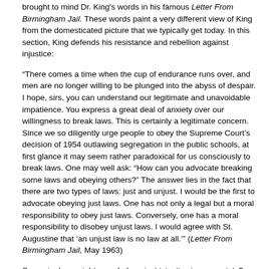brought to mind Dr. King's words in his famous Letter From Birmingham Jail. These words paint a very different view of King from the domesticated picture that we typically get today. In this section, King defends his resistance and rebellion against injustice:
“There comes a time when the cup of endurance runs over, and men are no longer willing to be plunged into the abyss of despair. I hope, sirs, you can understand our legitimate and unavoidable impatience. You express a great deal of anxiety over our willingness to break laws. This is certainly a legitimate concern. Since we so diligently urge people to obey the Supreme Court’s decision of 1954 outlawing segregation in the public schools, at first glance it may seem rather paradoxical for us consciously to break laws. One may well ask: “How can you advocate breaking some laws and obeying others?” The answer lies in the fact that there are two types of laws: just and unjust. I would be the first to advocate obeying just laws. One has not only a legal but a moral responsibility to obey just laws. Conversely, one has a moral responsibility to disobey unjust laws. I would agree with St. Augustine that ‘an unjust law is no law at all.’” (Letter From Birmingham Jail, May 1963)
So again, how might we rebel against injustice in our society? Which injustices are especially galling to your heart? How might you resist and rebel? What difference does it make for you to view Mary, King, and even Jesus as a rebel rather than as compliant? Does it give you courage? Do you feel as if you are in good company? Are you less alone than you might think?